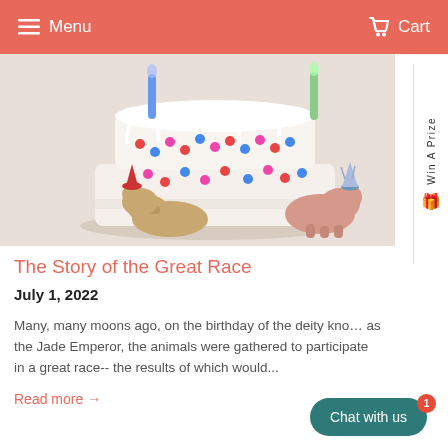Menu  Cart
[Figure (photo): A birthday cake decorated with colorful confetti sprinkles and white frosting, with blue and green candles. Small ceramic animal figurines (a cow and a pig wearing party hats) are placed around the cake.]
The Story of the Great Race
July 1, 2022
Many, many moons ago, on the birthday of the deity known as the Jade Emperor, the animals were gathered to participate in a great race-- the results of which would...
Read more →